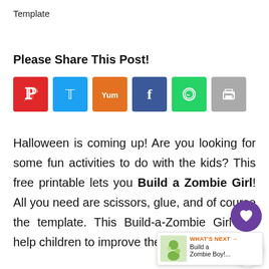Template
Please Share This Post!
[Figure (infographic): Six social share buttons: Pinterest (red), Twitter (blue), Yummly (orange), Facebook (dark blue), WhatsApp (green), Print (gray)]
Halloween is coming up! Are you looking for some fun activities to do with the kids? This free printable lets you Build a Zombie Girl! All you need are scissors, glue, and of course the template. This Build-a-Zombie Girl will help children to improve their